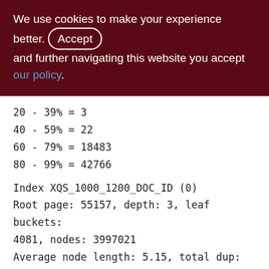We use cookies to make your experience better. By accepting and further navigating this website you accept our policy.
20 - 39% = 3
40 - 59% = 22
60 - 79% = 18483
80 - 99% = 42766
Index XQS_1000_1200_DOC_ID (0)
Root page: 55157, depth: 3, leaf buckets: 4081, nodes: 3997021
Average node length: 5.15, total dup: 3906355, max dup: 129
Average key length: 2.17, compression ratio: 4.15